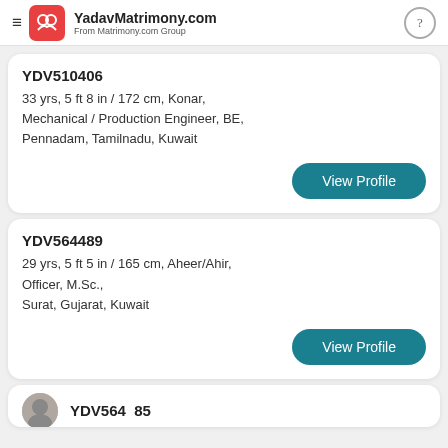YadavMatrimony.com — From Matrimony.com Group
YDV510406
33 yrs, 5 ft 8 in / 172 cm, Konar, Mechanical / Production Engineer, BE, Pennadam, Tamilnadu, Kuwait
View Profile
YDV564489
29 yrs, 5 ft 5 in / 165 cm, Aheer/Ahir, Officer, M.Sc., Surat, Gujarat, Kuwait
View Profile
YDV564 85